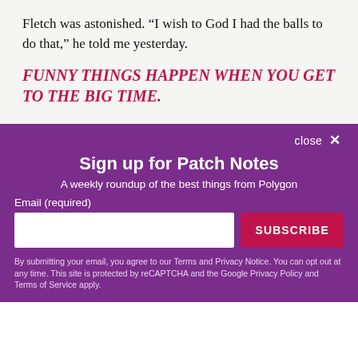Fletch was astonished. “I wish to God I had the balls to do that,” he told me yesterday.
FUNNY THINGS HAPPEN WHEN YOU GET TO THE BIG TIME.
[Figure (screenshot): Purple modal overlay for newsletter signup: 'Sign up for Patch Notes' with subtitle 'A weekly roundup of the best things from Polygon', email input field, SUBSCRIBE button, and privacy notice footnote. Has a close X button.]